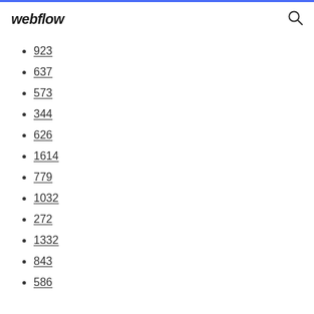webflow
923
637
573
344
626
1614
779
1032
272
1332
843
586